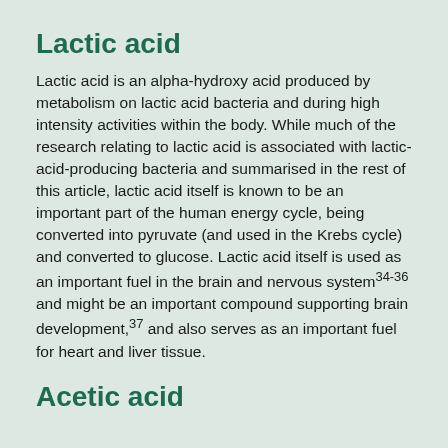Lactic acid
Lactic acid is an alpha-hydroxy acid produced by metabolism on lactic acid bacteria and during high intensity activities within the body. While much of the research relating to lactic acid is associated with lactic-acid-producing bacteria and summarised in the rest of this article, lactic acid itself is known to be an important part of the human energy cycle, being converted into pyruvate (and used in the Krebs cycle) and converted to glucose. Lactic acid itself is used as an important fuel in the brain and nervous system34-36 and might be an important compound supporting brain development,37 and also serves as an important fuel for heart and liver tissue.
Acetic acid